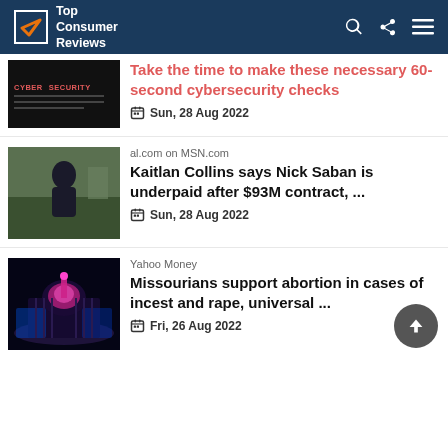[Figure (logo): Top Consumer Reviews logo with checkmark icon on dark navy header]
Take the time to make these necessary 60-second cybersecurity checks
Sun, 28 Aug 2022
al.com on MSN.com
Kaitlan Collins says Nick Saban is underpaid after $93M contract, ...
Sun, 28 Aug 2022
Yahoo Money
Missourians support abortion in cases of incest and rape, universal ...
Fri, 26 Aug 2022